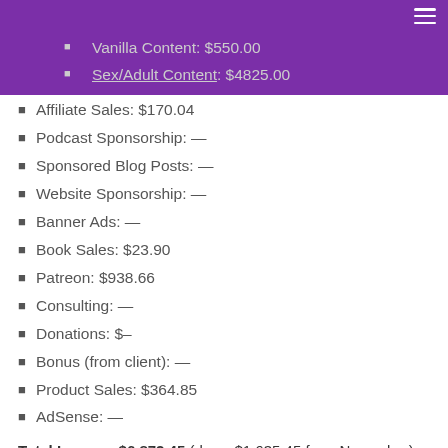Vanilla Content: $550.00
Sex/Adult Content: $4825.00
Affiliate Sales: $170.04
Podcast Sponsorship: —
Sponsored Blog Posts: —
Website Sponsorship: —
Banner Ads: —
Book Sales: $23.90
Patreon: $938.66
Consulting: —
Donations: $–
Bonus (from client): —
Product Sales: $364.85
AdSense: —
Total Income: $6,872.45 (down $1,635.45 from November)
December 2020 Expenses
Some expenses are monthly, some quarterly, and some annual. I